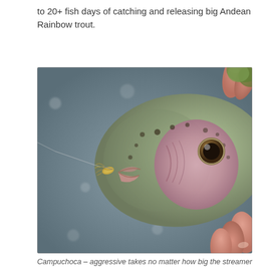to 20+ fish days of catching and releasing big Andean Rainbow trout.
[Figure (photo): Close-up photograph of an Andean Rainbow trout being held by a person's hand, with a fly fishing lure/streamer in its mouth. The fish has spotted olive-brown coloring with pinkish gill area. Water with light reflections visible in background.]
Campuchoca – aggressive takes no matter how big the streamer is